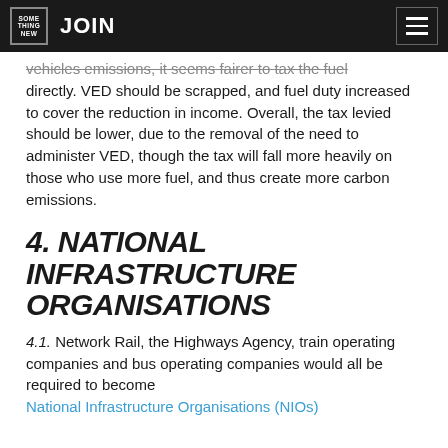SOMETHING NEW | JOIN
vehicles emissions, it seems fairer to tax the fuel directly. VED should be scrapped, and fuel duty increased to cover the reduction in income. Overall, the tax levied should be lower, due to the removal of the need to administer VED, though the tax will fall more heavily on those who use more fuel, and thus create more carbon emissions.
4. NATIONAL INFRASTRUCTURE ORGANISATIONS
4.1. Network Rail, the Highways Agency, train operating companies and bus operating companies would all be required to become National Infrastructure Organisations (NIOs)